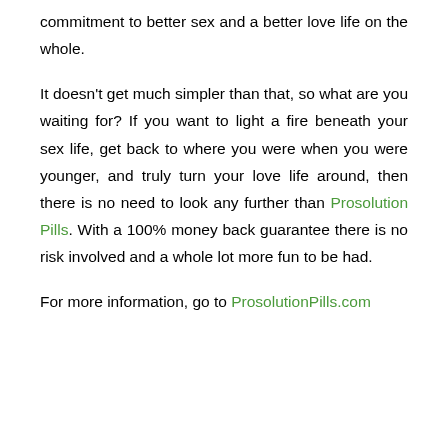commitment to better sex and a better love life on the whole.
It doesn't get much simpler than that, so what are you waiting for? If you want to light a fire beneath your sex life, get back to where you were when you were younger, and truly turn your love life around, then there is no need to look any further than Prosolution Pills. With a 100% money back guarantee there is no risk involved and a whole lot more fun to be had.
For more information, go to ProsolutionPills.com